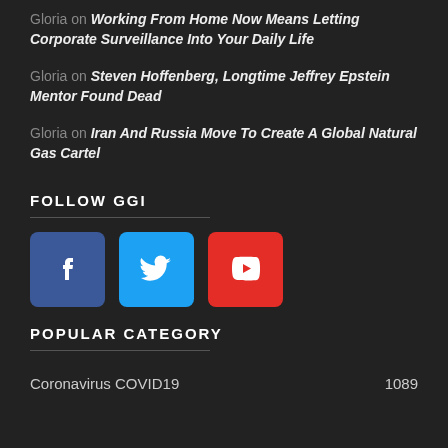Gloria on Working From Home Now Means Letting Corporate Surveillance Into Your Daily Life
Gloria on Steven Hoffenberg, Longtime Jeffrey Epstein Mentor Found Dead
Gloria on Iran And Russia Move To Create A Global Natural Gas Cartel
FOLLOW GGI
[Figure (infographic): Three social media icon buttons: Facebook (blue), Twitter (light blue), YouTube (red)]
POPULAR CATEGORY
Coronavirus COVID19   1089